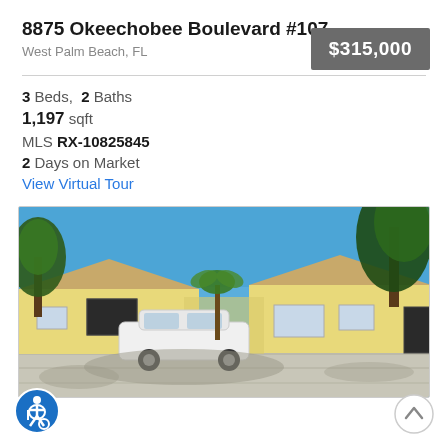8875 Okeechobee Boulevard #107
West Palm Beach, FL
$315,000
3 Beds,  2 Baths
1,197 sqft
MLS RX-10825845
2 Days on Market
View Virtual Tour
[Figure (photo): Exterior photo of yellow single-story homes with a white SUV in the driveway, blue sky and trees in background]